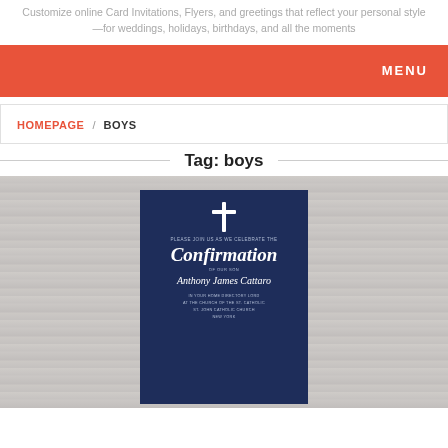Customize online Card Invitations, Flyers, and greetings that reflect your personal style—for weddings, holidays, birthdays, and all the moments
MENU
HOMEPAGE / BOYS
Tag: boys
[Figure (photo): A confirmation invitation card on a wood background. The card is navy blue with a white cross at top, the word 'Confirmation' in script font, and the name 'Anthony James Cattaro' in script below, with event details at the bottom.]